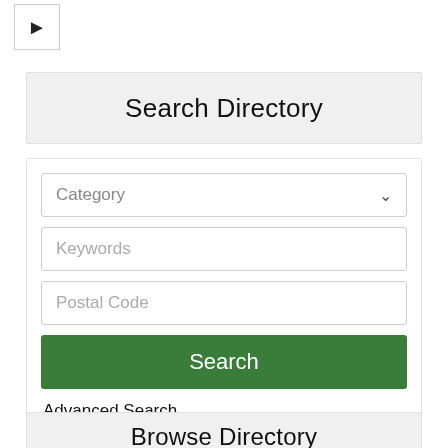[Figure (screenshot): Arrow/chevron button pointing right, white background with border]
Search Directory
[Figure (screenshot): Search form with Category dropdown, Keywords text input, Postal Code text input, Search button, and Advanced Search link]
Browse Directory